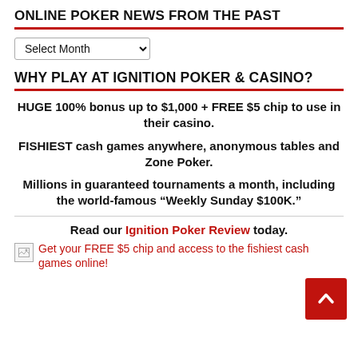ONLINE POKER NEWS FROM THE PAST
Select Month
WHY PLAY AT IGNITION POKER & CASINO?
HUGE 100% bonus up to $1,000 + FREE $5 chip to use in their casino.
FISHIEST cash games anywhere, anonymous tables and Zone Poker.
Millions in guaranteed tournaments a month, including the world-famous "Weekly Sunday $100K."
Read our Ignition Poker Review today.
Get your FREE $5 chip and access to the fishiest cash games online!